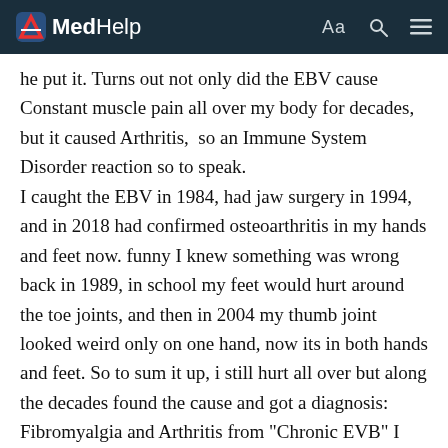MedHelp
he put it. Turns out not only did the EBV cause Constant muscle pain all over my body for decades, but it caused Arthritis,  so an Immune System Disorder reaction so to speak. I caught the EBV in 1984, had jaw surgery in 1994, and in 2018 had confirmed osteoarthritis in my hands and feet now. funny I knew something was wrong back in 1989, in school my feet would hurt around the toe joints, and then in 2004 my thumb joint looked weird only on one hand, now its in both hands and feet. So to sum it up, i still hurt all over but along the decades found the cause and got a diagnosis: Fibromyalgia and Arthritis from "Chronic EVB" I never got full blown MONONUCLEOSIS from the EBV, however, just pain for the rest of my life. This has triggered muscle and